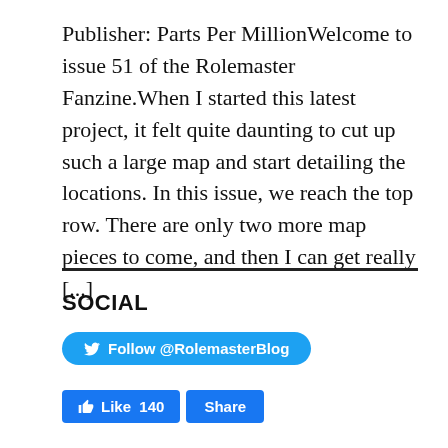Publisher: Parts Per MillionWelcome to issue 51 of the Rolemaster Fanzine.When I started this latest project, it felt quite daunting to cut up such a large map and start detailing the locations. In this issue, we reach the top row. There are only two more map pieces to come, and then I can get really [...]
SOCIAL
[Figure (other): Twitter Follow button with label 'Follow @RolemasterBlog']
[Figure (other): Facebook Like button showing 140 likes and a Share button]